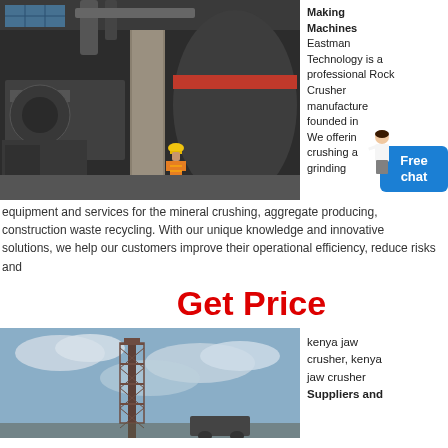[Figure (photo): Industrial rock crusher / ball mill equipment inside a large facility, with a worker in orange safety vest and yellow hard hat visible.]
Making Machines
Eastman Technology is a professional Rock Crusher manufacturer founded in We offering crushing and grinding equipment and services for the mineral crushing, aggregate producing, construction waste recycling. With our unique knowledge and innovative solutions, we help our customers improve their operational efficiency, reduce risks and
equipment and services for the mineral crushing, aggregate producing, construction waste recycling. With our unique knowledge and innovative solutions, we help our customers improve their operational efficiency, reduce risks and
Get Price
[Figure (photo): Tall steel tower structure or crane against a partly cloudy sky.]
kenya jaw crusher, kenya jaw crusher Suppliers and